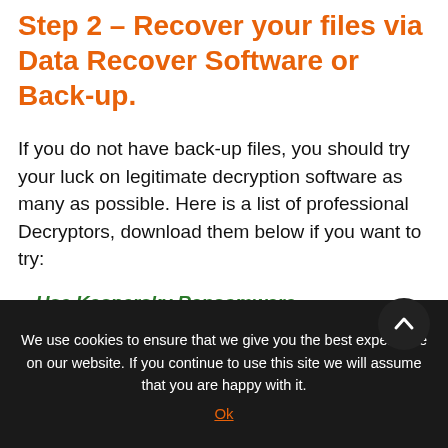Step 2 – Recover your files via Data Recover Software or Back-up.
If you do not have back-up files, you should try your luck on legitimate decryption software as many as possible. Here is a list of professional Decryptors, download them below if you want to try:
Use Kaspersky Ransomware
We use cookies to ensure that we give you the best experience on our website. If you continue to use this site we will assume that you are happy with it.
Ok